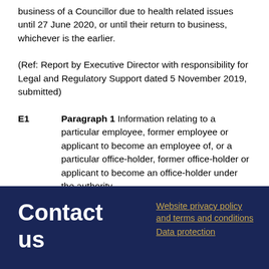business of a Councillor due to health related issues until 27 June 2020, or until their return to business, whichever is the earlier.
(Ref: Report by Executive Director with responsibility for Legal and Regulatory Support dated 5 November 2019, submitted)
E1   Paragraph 1  Information relating to a particular employee, former employee or applicant to become an employee of, or a particular office-holder, former office-holder or applicant to become an office-holder under the authority.
Contact us
Website privacy policy and terms and conditions
Data protection